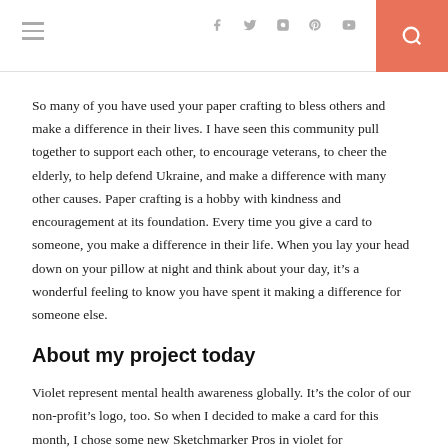Navigation bar with hamburger menu, social icons (facebook, twitter, instagram, pinterest, youtube), and search button
So many of you have used your paper crafting to bless others and make a difference in their lives. I have seen this community pull together to support each other, to encourage veterans, to cheer the elderly, to help defend Ukraine, and make a difference with many other causes. Paper crafting is a hobby with kindness and encouragement at its foundation. Every time you give a card to someone, you make a difference in their life. When you lay your head down on your pillow at night and think about your day, it’s a wonderful feeling to know you have spent it making a difference for someone else.
About my project today
Violet represent mental health awareness globally. It’s the color of our non-profit’s logo, too. So when I decided to make a card for this month, I chose some new Sketchmarker Pros in violet for